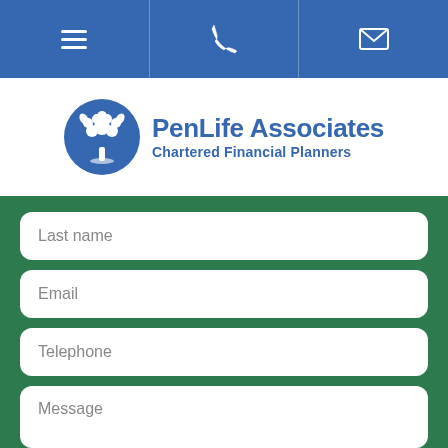[Figure (screenshot): Blue navigation bar with hamburger menu icon, phone icon, and envelope/email icon, separated by vertical dividers]
[Figure (logo): PenLife Associates logo — circular blue icon with white tree/flower motif, text 'PenLife Associates' in blue, subtitle 'Chartered Financial Planners' in blue]
Last name
Email
Telephone
Message